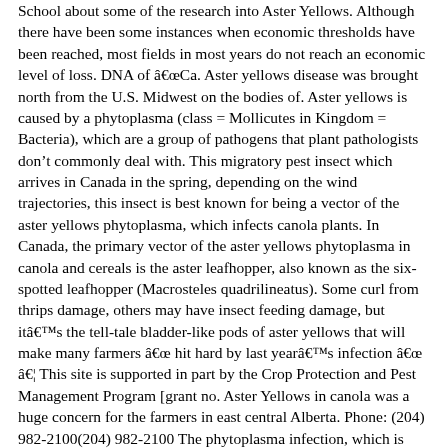School about some of the research into Aster Yellows. Although there have been some instances when economic thresholds have been reached, most fields in most years do not reach an economic level of loss. DNA of âCa. Aster yellows disease was brought north from the U.S. Midwest on the bodies of. Aster yellows is caused by a phytoplasma (class = Mollicutes in Kingdom = Bacteria), which are a group of pathogens that plant pathologists don’t commonly deal with. This migratory pest insect which arrives in Canada in the spring, depending on the wind trajectories, this insect is best known for being a vector of the aster yellows phytoplasma, which infects canola plants. In Canada, the primary vector of the aster yellows phytoplasma in canola and cereals is the aster leafhopper, also known as the six-spotted leafhopper (Macrosteles quadrilineatus). Some curl from thrips damage, others may have insect feeding damage, but itâs the tell-tale bladder-like pods of aster yellows that will make many farmers â hit hard by last yearâs infection â â¦ This site is supported in part by the Crop Protection and Pest Management Program [grant no. Aster Yellows in canola was a huge concern for the farmers in east central Alberta. Phone: (204) 982-2100(204) 982-2100 The phytoplasma infection, which is spread by the aster leafhopper, leads to highly-visible, misshapen flowers and pods. 400-167 Lombard Ave.Winnipeg, MB R3B 0T6admin@canolacouncil.orgPhone: (204) 982-2100Toll-free: (866) 834-4378 Home / Canola Encyclopedia / Diseases / Aster